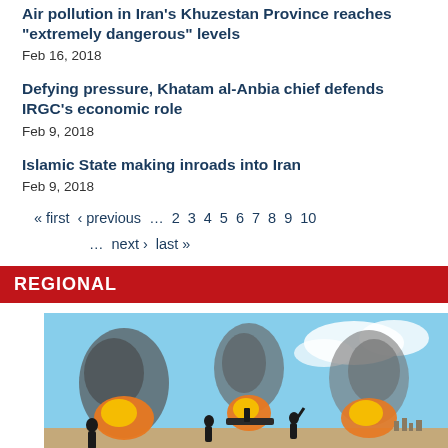Air pollution in Iran's Khuzestan Province reaches "extremely dangerous" levels
Feb 16, 2018
Defying pressure, Khatam al-Anbia chief defends IRGC's economic role
Feb 9, 2018
Islamic State making inroads into Iran
Feb 9, 2018
« first  ‹ previous  …  2  3  4  5  6  7  8  9  10  …  next ›  last »
REGIONAL
[Figure (photo): Photo of armed conflict scene with explosions and smoke, fighters operating artillery in an outdoor setting with blue sky]